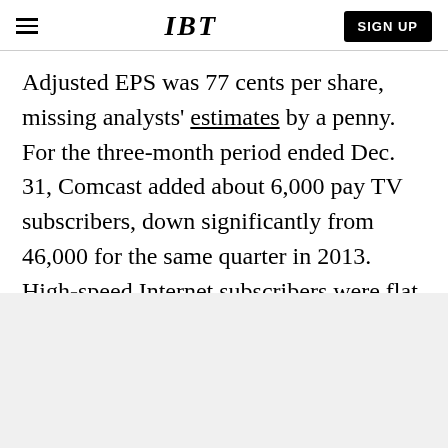IBT | SIGN UP
Adjusted EPS was 77 cents per share, missing analysts' estimates by a penny. For the three-month period ended Dec. 31, Comcast added about 6,000 pay TV subscribers, down significantly from 46,000 for the same quarter in 2013. High-speed Internet subscribers were flat, with a net gain of 379,000 compared with 379,000 last year.